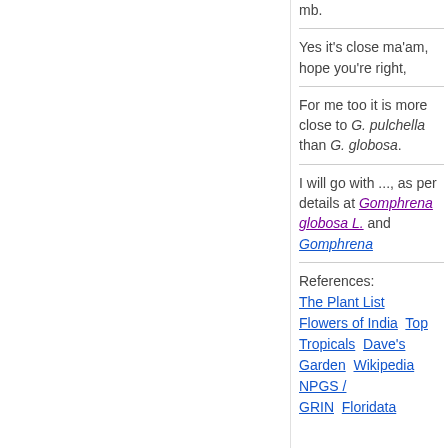mb.
Yes it's close ma'am, hope you're right,
For me too it is more close to G. pulchella than G. globosa.
I will go with ..., as per details at Gomphrena globosa L. and Gomphrena
References: The Plant List  Flowers of India  Top Tropicals  Dave's Garden  Wikipedia  NPGS / GRIN  Floridata